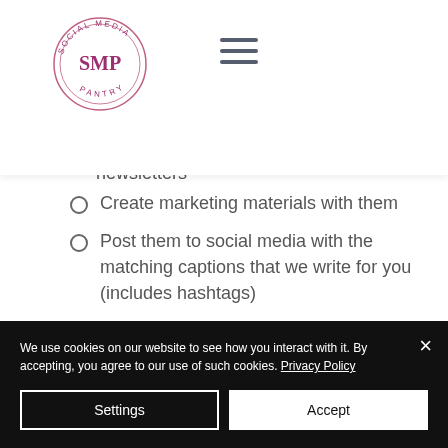[Figure (logo): Social Media Pantry (SMP) circular logo with pink text]
newsletters
Create marketing materials with them
Post them to social media with the matching captions that we write for you (includes hashtags)
We use cookies on our website to see how you interact with it. By accepting, you agree to our use of such cookies. Privacy Policy
Settings
Accept